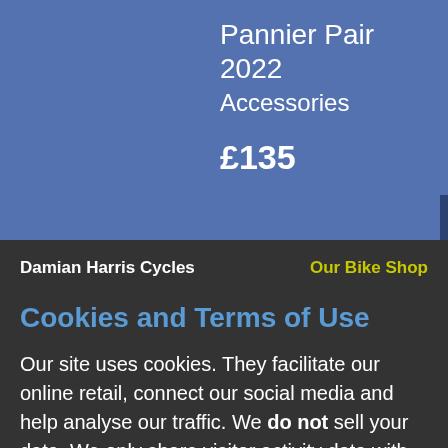Pannier Pair 2022
Accessories
£135
View
Damian Harris Cycles   Our Bike Shop
Cookies and Terms of Use
Our site uses cookies. They facilitate our online retail, connect our social media and help analyse our traffic. We do not sell your data. We only share visitor activity data with